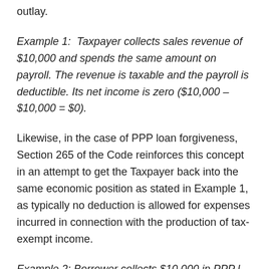from operations and is in turn spent on a deductible outlay.
Example 1: Taxpayer collects sales revenue of $10,000 and spends the same amount on payroll. The revenue is taxable and the payroll is deductible. Its net income is zero ($10,000 – $10,000 = $0).
Likewise, in the case of PPP loan forgiveness, Section 265 of the Code reinforces this concept in an attempt to get the Taxpayer back into the same economic position as stated in Example 1, as typically no deduction is allowed for expenses incurred in connection with the production of tax-exempt income.
Example 2: Borrower collects $10,000 in PPP l...